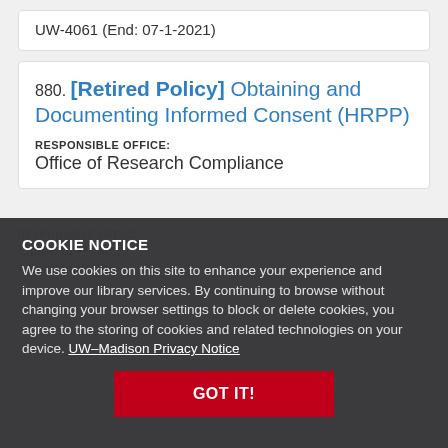UW-4061 (End: 07-1-2021)
880. [Retired Policy] Obtaining and Documenting Informed Consent (HRPP)
RESPONSIBLE OFFICE:
Office of Research Compliance
COOKIE NOTICE
We use cookies on this site to enhance your experience and improve our library services. By continuing to browse without changing your browser settings to block or delete cookies, you agree to the storing of cookies and related technologies on your device. UW–Madison Privacy Notice
GOT IT!